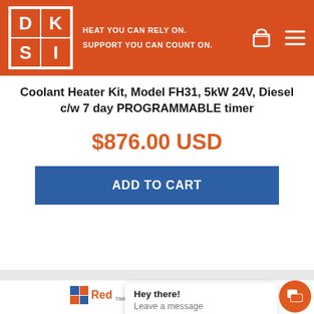[Figure (logo): DKSI company logo - white box with orange background, letters D, K, S, I in four quadrants with striped effect. Tagline: HEAT YOU CAN RELY ON. SUPPORT YOU CAN COUNT ON.]
Coolant Heater Kit, Model FH31, 5kW 24V, Diesel c/w 7 day PROGRAMMABLE timer
$876.00 USD
ADD TO CART
[Figure (logo): DKSI Red Timber Products logo]
Hey there! Leave a message